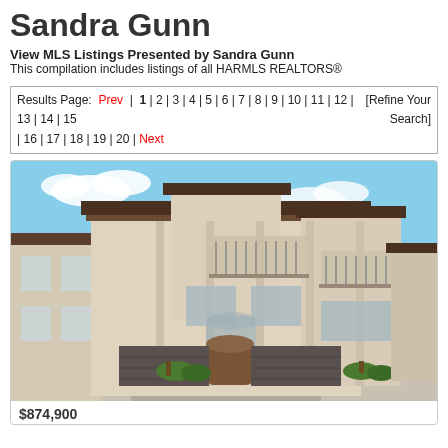Sandra Gunn
View MLS Listings Presented by Sandra Gunn
This compilation includes listings of all HARMLS REALTORS®
Results Page: Prev | 1 | 2 | 3 | 4 | 5 | 6 | 7 | 8 | 9 | 10 | 11 | 12 | 13 | 14 | 15 [Refine Your Search] | 16 | 17 | 18 | 19 | 20 | Next
[Figure (photo): Exterior photo of a multi-story luxury residential condominium building with balconies, arched windows, and garage doors, under a blue sky.]
$874,900